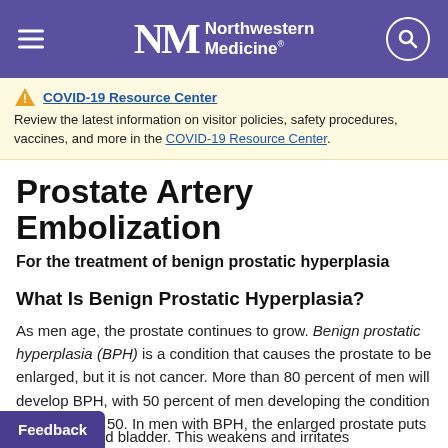Northwestern Medicine
COVID-19 Resource Center
Review the latest information on visitor policies, safety procedures, vaccines, and more in the COVID-19 Resource Center.
Prostate Artery Embolization
For the treatment of benign prostatic hyperplasia
What Is Benign Prostatic Hyperplasia?
As men age, the prostate continues to grow. Benign prostatic hyperplasia (BPH) is a condition that causes the prostate to be enlarged, but it is not cancer. More than 80 percent of men will develop BPH, with 50 percent of men developing the condition by the age of 50. In men with BPH, the enlarged prostate puts pressure on the urethra and bladder. This weakens and irritates the bladder, and it can...